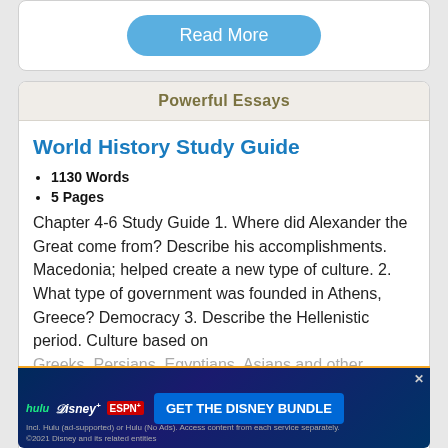[Figure (screenshot): Read More button (blue rounded pill button)]
Powerful Essays
World History Study Guide
1130 Words
5 Pages
Chapter 4-6 Study Guide 1. Where did Alexander the Great come from? Describe his accomplishments. Macedonia; helped create a new type of culture. 2. What type of government was founded in Athens, Greece? Democracy 3. Describe the Hellenistic period. Culture based on Greeks, Persians, Egyptians, Asians and other regions. 4. Homer... What is the subject of the Iliad and the Odyssey, last year of the Trojan war and heroes from the
[Figure (screenshot): Disney Bundle advertisement banner with Hulu, Disney+, ESPN+ logos and GET THE DISNEY BUNDLE call to action]